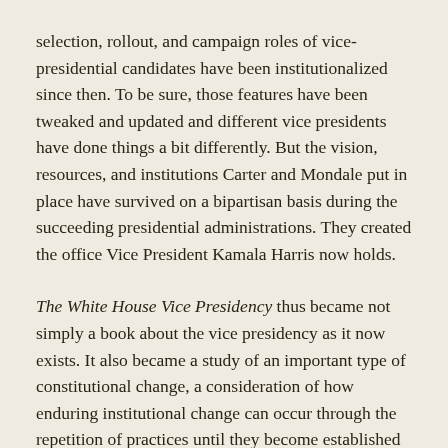selection, rollout, and campaign roles of vice-presidential candidates have been institutionalized since then. To be sure, those features have been tweaked and updated and different vice presidents have done things a bit differently. But the vision, resources, and institutions Carter and Mondale put in place have survived on a bipartisan basis during the succeeding presidential administrations. They created the office Vice President Kamala Harris now holds.
The White House Vice Presidency thus became not simply a book about the vice presidency as it now exists. It also became a study of an important type of constitutional change, a consideration of how enduring institutional change can occur through the repetition of practices until they become established norms.
What triggered this constitutional change was political leadership, principally the commitment, imagination